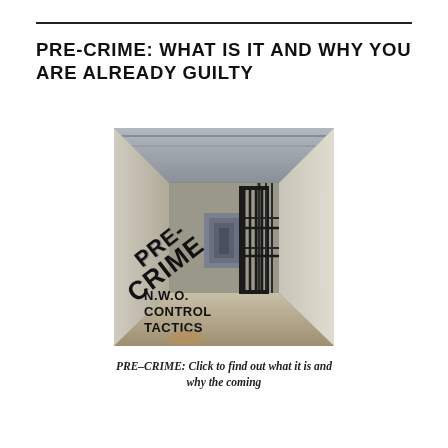PRE-CRIME: WHAT IS IT AND WHY YOU ARE ALREADY GUILTY
[Figure (photo): Book cover image showing a prison corridor with metal bars and gates, overlaid with large diagonal bold text reading 'PRE-CRIME' and below it 'N.W.O. CONTROL TACTICS'. A vertical text on the right reads 'End Time Prophecy Report'.]
PRE-CRIME: Click to find out what it is and why the coming